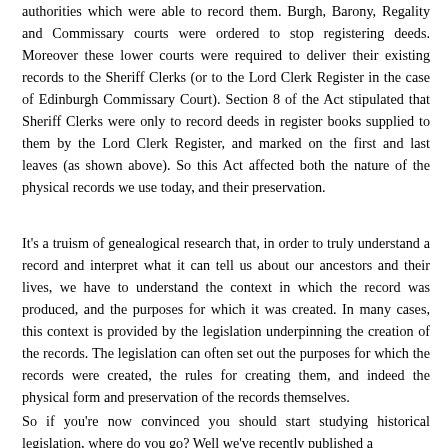authorities which were able to record them. Burgh, Barony, Regality and Commissary courts were ordered to stop registering deeds. Moreover these lower courts were required to deliver their existing records to the Sheriff Clerks (or to the Lord Clerk Register in the case of Edinburgh Commissary Court). Section 8 of the Act stipulated that Sheriff Clerks were only to record deeds in register books supplied to them by the Lord Clerk Register, and marked on the first and last leaves (as shown above). So this Act affected both the nature of the physical records we use today, and their preservation.
It's a truism of genealogical research that, in order to truly understand a record and interpret what it can tell us about our ancestors and their lives, we have to understand the context in which the record was produced, and the purposes for which it was created. In many cases, this context is provided by the legislation underpinning the creation of the records. The legislation can often set out the purposes for which the records were created, the rules for creating them, and indeed the physical form and preservation of the records themselves.
So if you're now convinced you should start studying historical legislation, where do you go? Well we've recently published a